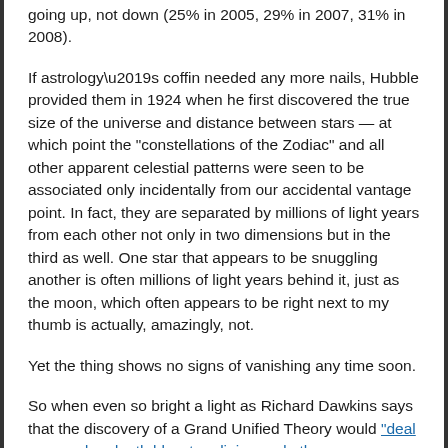going up, not down (25% in 2005, 29% in 2007, 31% in 2008).
If astrology’s coffin needed any more nails, Hubble provided them in 1924 when he first discovered the true size of the universe and distance between stars — at which point the “constellations of the Zodiac” and all other apparent celestial patterns were seen to be associated only incidentally from our accidental vantage point. In fact, they are separated by millions of light years from each other not only in two dimensions but in the third as well. One star that appears to be snuggling another is often millions of light years behind it, just as the moon, which often appears to be right next to my thumb is actually, amazingly, not.
Yet the thing shows no signs of vanishing any time soon.
So when even so bright a light as Richard Dawkins says that the discovery of a Grand Unified Theory would “deal an overdue death blow to religion and other